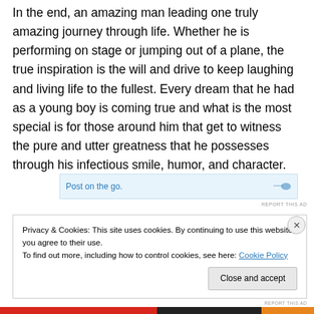In the end, an amazing man leading one truly amazing journey through life. Whether he is performing on stage or jumping out of a plane, the true inspiration is the will and drive to keep laughing and living life to the fullest. Every dream that he had as a young boy is coming true and what is the most special is for those around him that get to witness the pure and utter greatness that he possesses through his infectious smile, humor, and character.
[Figure (screenshot): Partial advertisement banner showing 'Post on the go.' text in blue with a light blue background and a small icon on the right.]
REPORT THIS AD
Privacy & Cookies: This site uses cookies. By continuing to use this website, you agree to their use.
To find out more, including how to control cookies, see here: Cookie Policy
Close and accept